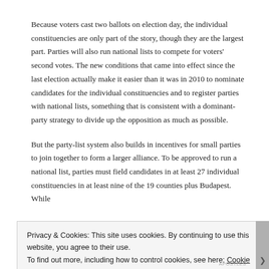Because voters cast two ballots on election day, the individual constituencies are only part of the story, though they are the largest part. Parties will also run national lists to compete for voters' second votes. The new conditions that came into effect since the last election actually make it easier than it was in 2010 to nominate candidates for the individual constituencies and to register parties with national lists, something that is consistent with a dominant-party strategy to divide up the opposition as much as possible.
But the party-list system also builds in incentives for small parties to join together to form a larger alliance. To be approved to run a national list, parties must field candidates in at least 27 individual constituencies in at least nine of the 19 counties plus Budapest. While
Privacy & Cookies: This site uses cookies. By continuing to use this website, you agree to their use.
To find out more, including how to control cookies, see here: Cookie Policy
Close and accept
APOSTLES